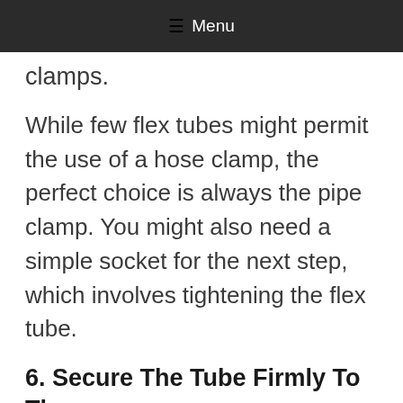☰ Menu
clamps.
While few flex tubes might permit the use of a hose clamp, the perfect choice is always the pipe clamp. You might also need a simple socket for the next step, which involves tightening the flex tube.
6. Secure The Tube Firmly To The
[Figure (infographic): Orange advertisement banner reading 'Help send medical aid to Ukraine >>' with Direct Relief logo on right side.]